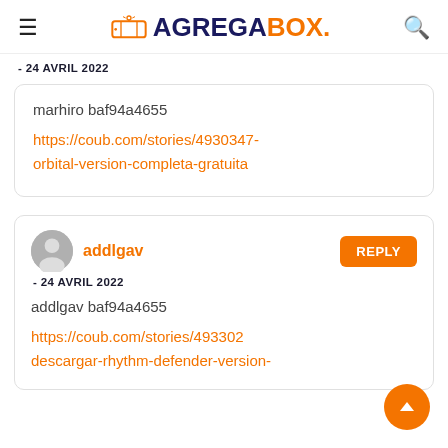AGREGABOX.
- 24 AVRIL 2022
marhiro baf94a4655
https://coub.com/stories/4930347-orbital-version-completa-gratuita
addlgav
- 24 AVRIL 2022
REPLY
addlgav baf94a4655
https://coub.com/stories/493302... descargar-rhythm-defender-version-